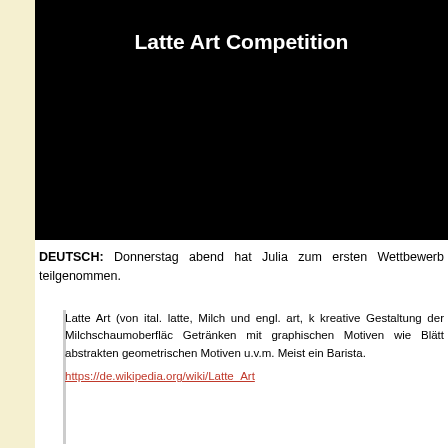[Figure (screenshot): Black video embed block with white title text 'Latte Art Competition' at the top]
DEUTSCH: Donnerstag abend hat Julia zum ersten... Wettbewerb teilgenommen.
Latte Art (von ital. latte, Milch und engl. art, k... kreative Gestaltung der Milchschaumoberfläche... Getränken mit graphischen Motiven wie Blätter... abstrakten geometrischen Motiven u.v.m. Meist... ein Barista.
https://de.wikipedia.org/wiki/Latte_Art